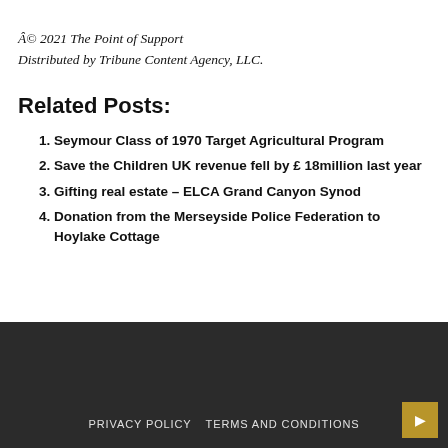© 2021 The Point of Support
Distributed by Tribune Content Agency, LLC.
Related Posts:
Seymour Class of 1970 Target Agricultural Program
Save the Children UK revenue fell by £ 18million last year
Gifting real estate – ELCA Grand Canyon Synod
Donation from the Merseyside Police Federation to Hoylake Cottage
PRIVACY POLICY   TERMS AND CONDITIONS